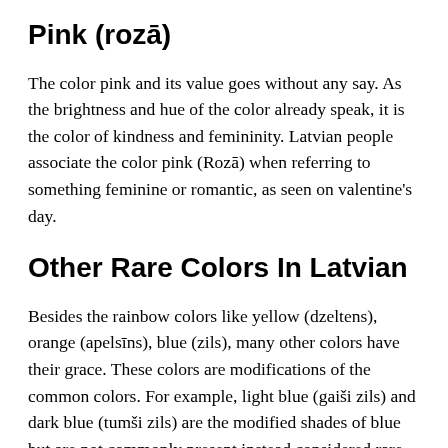Pink (rozā)
The color pink and its value goes without any say. As the brightness and hue of the color already speak, it is the color of kindness and femininity. Latvian people associate the color pink (Rozā) when referring to something feminine or romantic, as seen on valentine's day.
Other Rare Colors In Latvian
Besides the rainbow colors like yellow (dzeltens), orange (apelsīns), blue (zils), many other colors have their grace. These colors are modifications of the common colors. For example, light blue (gaiši zils) and dark blue (tumši zils) are the modified shades of blue but are not commonly present instead considered rare colors.